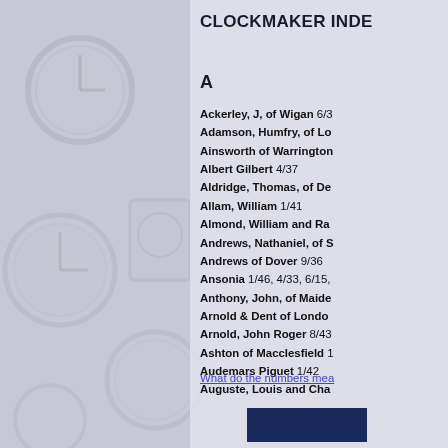[Figure (photo): Background image of clocks on a wall, faded/ghosted, occupying the left portion of the page]
CLOCKMAKER INDE
A
Ackerley, J, of Wigan 6/3
Adamson, Humfry, of Lo
Ainsworth of Warrington
Albert Gilbert 4/37
Aldridge, Thomas, of De
Allam, William 1/41
Almond, William and Ra
Andrews, Nathaniel, of S
Andrews of Dover 9/36
Ansonia 1/46, 4/33, 6/15,
Anthony, John, of Maide
Arnold & Dent of Londo
Arnold, John Roger 8/43
Ashton of Macclesfield 1
Audemars Piguet 1/42
Auguste, Louis and Cha
What do the numbers mea